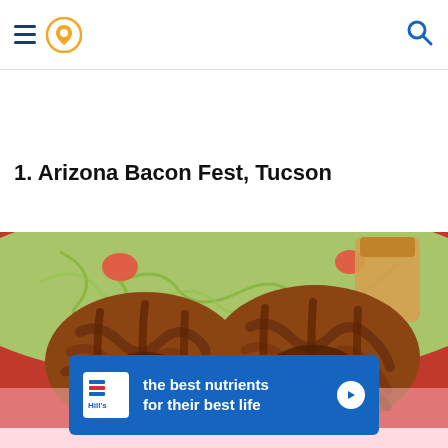Navigation bar with hamburger menu, location pin icon, and search icon
1. Arizona Bacon Fest, Tucson
[Figure (photo): Close-up photo of two bacon-wrapped burgers on a red tray with shredded lettuce, tomatoes, and a jar of dipping sauce in the background]
[Figure (other): Hill's Pet Nutrition advertisement banner: 'the best nutrients for their best life' with Hill's logo and a play/arrow button]